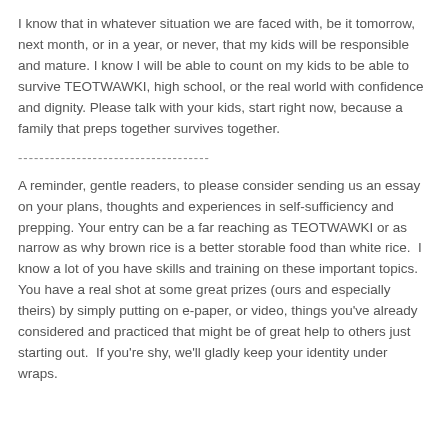I know that in whatever situation we are faced with, be it tomorrow, next month, or in a year, or never, that my kids will be responsible and mature. I know I will be able to count on my kids to be able to survive TEOTWAWKI, high school, or the real world with confidence and dignity. Please talk with your kids, start right now, because a family that preps together survives together.
------------------------------------
A reminder, gentle readers, to please consider sending us an essay on your plans, thoughts and experiences in self-sufficiency and prepping. Your entry can be a far reaching as TEOTWAWKI or as narrow as why brown rice is a better storable food than white rice.  I know a lot of you have skills and training on these important topics. You have a real shot at some great prizes (ours and especially theirs) by simply putting on e-paper, or video, things you've already considered and practiced that might be of great help to others just starting out.  If you're shy, we'll gladly keep your identity under wraps.